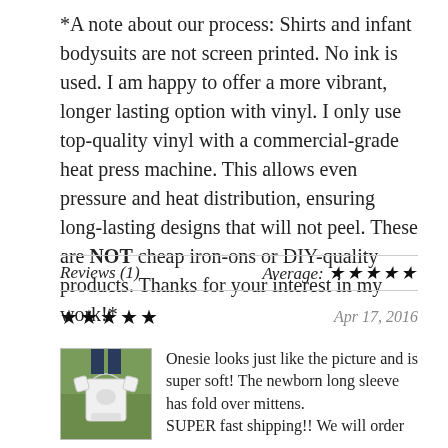*A note about our process: Shirts and infant bodysuits are not screen printed. No ink is used. I am happy to offer a more vibrant, longer lasting option with vinyl. I only use top-quality vinyl with a commercial-grade heat press machine. This allows even pressure and heat distribution, ensuring long-lasting designs that will not peel. These are NOT cheap iron-ons or DIY-quality products. Thanks for your interest in my work!*
Reviews (1)   Average: ★★★★★
★★★★★   Apr 17, 2016
[Figure (photo): Photo of a white onesie with a design on it, displayed on grass.]
Onesie looks just like the picture and is super soft! The newborn long sleeve has fold over mittens. SUPER fast shipping!! We will order...